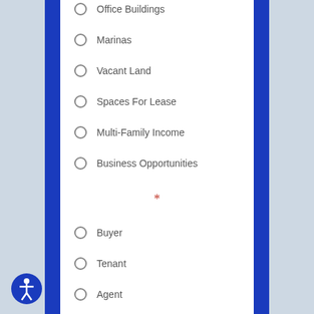Office Buildings
Marinas
Vacant Land
Spaces For Lease
Multi-Family Income
Business Opportunities
*
Buyer
Tenant
Agent